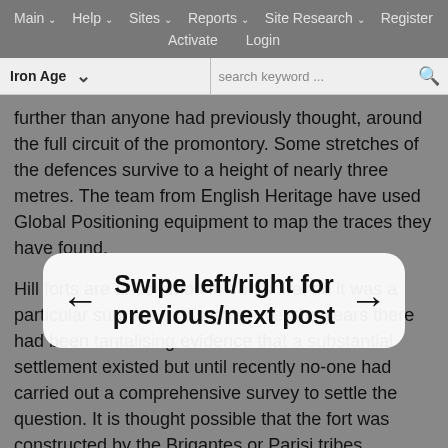Main ∨  Help ∨  Sites ∨  Reports ∨  Site Research ∨  Register  Activate  Login
Iron Age  ∨  search keyword ...
further than anyone had previously thought, around the full circuit of the promontory. Some stretches of the defences survive to a height of nearly three metres. The team from English Heritage have used Global Positioning equipment to map the traces they have found.
Hill forts are uncommon in Yorkshire, so it was a particular surprise to discover over the years there had been tantalising evidence that a substantial settlement existed but until recently no-one had carried out a comprehensive survey to settle the question. It is thought possible that the fort was constructed by the Brigantes or Parisi tribes, perhaps as much as a statement of power than as a defensive bastion or temporary refuge in times of trouble. Such a large fort would have taken a vast amount of labour to build, together with vast quantities of timber, which poses further intriguing questions about social organisation as well as purpose.
[Figure (infographic): Swipe overlay with left arrow, text 'Swipe left/right for previous/next post', and right arrow]